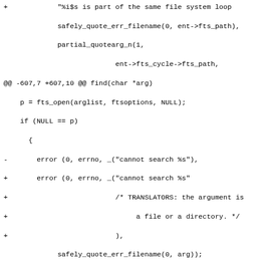Diff/patch code showing changes to find.c and parser.c source files